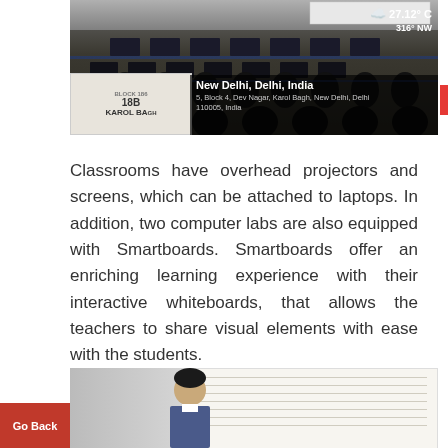[Figure (photo): Computer lab classroom with rows of computers and office chairs, with a location overlay showing 'New Delhi, Delhi, India, 5, Block 4, Dev Nagar, Karol Bagh, New Delhi, Delhi 110005, India' and weather showing '27.12°C' and '316° NW']
Classrooms have overhead projectors and screens, which can be attached to laptops. In addition, two computer labs are also equipped with Smartboards. Smartboards offer an enriching learning experience with their interactive whiteboards, that allows the teachers to share visual elements with ease with the students.
[Figure (photo): Partial photo showing a person (teacher or student) in front of a whiteboard]